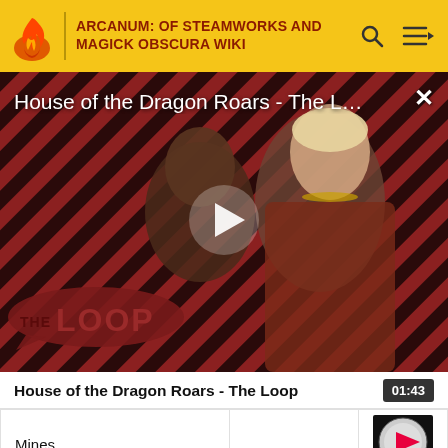ARCANUM: OF STEAMWORKS AND MAGICK OBSCURA WIKI
[Figure (screenshot): Video thumbnail for 'House of the Dragon Roars - The L...' with play button overlay, diagonal stripe background pattern in red and dark, two characters visible, 'THE LOOP' logo at bottom left, close X button at top right]
House of the Dragon Roars - The Loop
01:43
|  |  |  |
| --- | --- | --- |
| Mines |  | ▶ |
| Cities |  | ▶ |